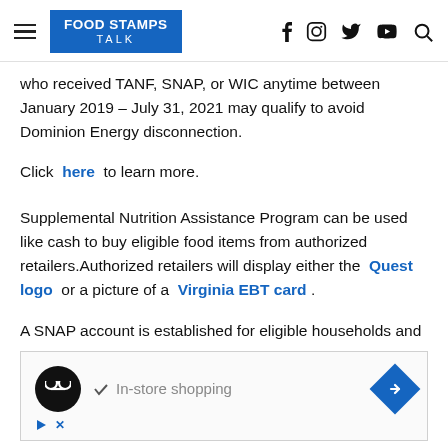FOOD STAMPS TALK [navigation with hamburger menu and social icons: f, Instagram, Twitter, YouTube, Search]
who received TANF, SNAP, or WIC anytime between January 2019 – July 31, 2021 may qualify to avoid Dominion Energy disconnection.
Click here to learn more.
Supplemental Nutrition Assistance Program can be used like cash to buy eligible food items from authorized retailers.Authorized retailers will display either the Quest logo or a picture of a Virginia EBT card.
A SNAP account is established for eligible households and
[Figure (screenshot): Advertisement banner showing a circular black logo with infinity-like symbol, a checkmark followed by 'In-store shopping' text in grey, and a blue diamond-shaped arrow button on the right. Below are a play button and X close icon in blue.]